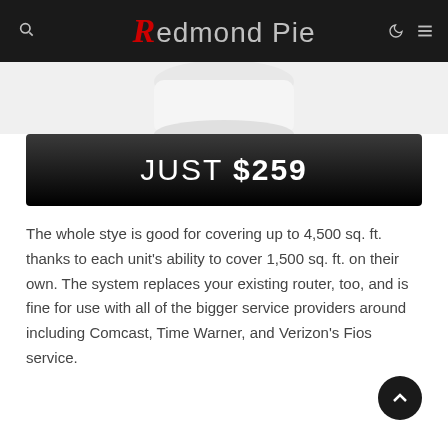Redmond Pie
[Figure (photo): Partial product image showing the bottom portion of a white rounded device on a light grey background]
JUST $259
The whole stye is good for covering up to 4,500 sq. ft. thanks to each unit's ability to cover 1,500 sq. ft. on their own. The system replaces your existing router, too, and is fine for use with all of the bigger service providers around including Comcast, Time Warner, and Verizon's Fios service.